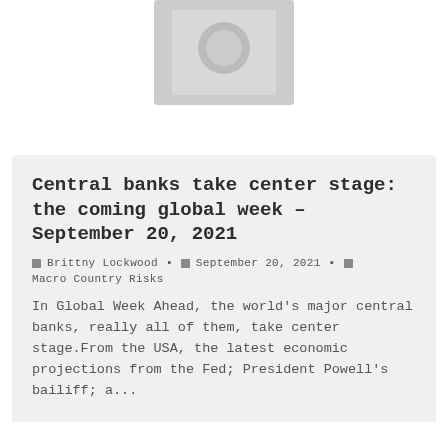[Figure (photo): Placeholder image thumbnail with grey background and circular grey image icon in the center]
Central banks take center stage: the coming global week – September 20, 2021
Brittny Lockwood  September 20, 2021  Macro Country Risks
In Global Week Ahead, the world's major central banks, really all of them, take center stage.From the USA, the latest economic projections from the Fed; President Powell's bailiff; a...